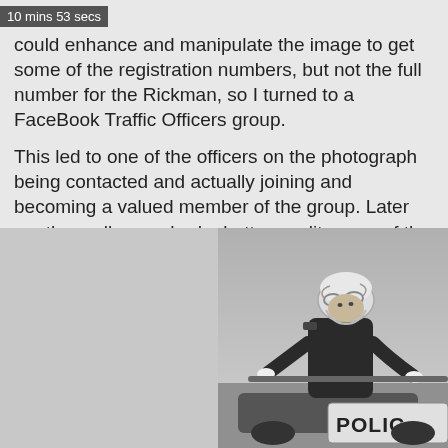10 mins 53 secs
could enhance and manipulate the image to get some of the registration numbers, but not the full number for the Rickman, so I turned to a FaceBook Traffic Officers group.

This led to one of the officers on the photograph being contacted and actually joining and becoming a valued member of the group. Later another colleague had a better quality copy of the photo and I got the full registration number, but in addition, all the names of the riders too.
[Figure (photo): Black and white photograph of a police motorcycle officer wearing a helmet with goggles, dark uniform, leaning over a motorcycle with 'POLIC' visible on its fairing.]